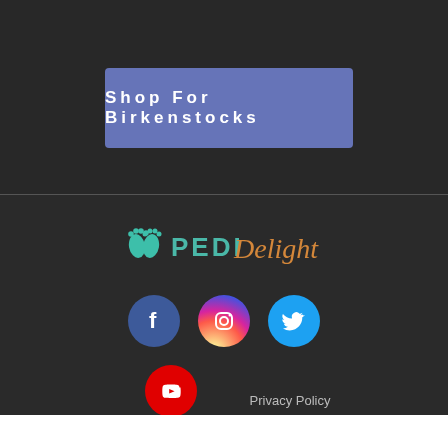Shop For Birkenstocks
[Figure (logo): PEDI Delight logo with teal feet icon and script text]
[Figure (infographic): Social media icons: Facebook (blue circle), Instagram (gradient circle), Twitter (cyan circle), YouTube (red circle)]
Privacy Policy
Terms & Conditions